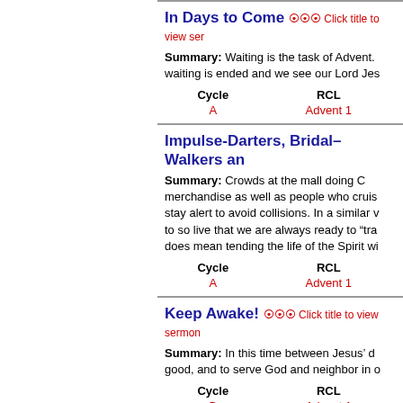In Days to Come  Click title to view ser...
Summary: Waiting is the task of Advent. waiting is ended and we see our Lord Jes...
| Cycle | RCL |
| --- | --- |
| A | Advent 1 |
Impulse-Darters, Bridal–Walkers an...
Summary: Crowds at the mall doing C... merchandise as well as people who cruis... stay alert to avoid collisions. In a similar v... to so live that we are always ready to "tra... does mean tending the life of the Spirit wi...
| Cycle | RCL |
| --- | --- |
| A | Advent 1 |
Keep Awake!  Click title to view sermon...
Summary: In this time between Jesus' d... good, and to serve God and neighbor in o...
| Cycle | RCL |
| --- | --- |
| B | Advent 1 |
Grace in Loss; Peace in P... Cli...
Summary: The First Sunday of Advent i...